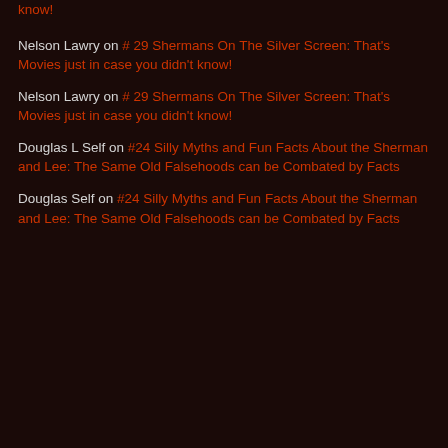know!
Nelson Lawry on # 29 Shermans On The Silver Screen: That's Movies just in case you didn't know!
Nelson Lawry on # 29 Shermans On The Silver Screen: That's Movies just in case you didn't know!
Douglas L Self on #24 Silly Myths and Fun Facts About the Sherman and Lee: The Same Old Falsehoods can be Combated by Facts
Douglas Self on #24 Silly Myths and Fun Facts About the Sherman and Lee: The Same Old Falsehoods can be Combated by Facts